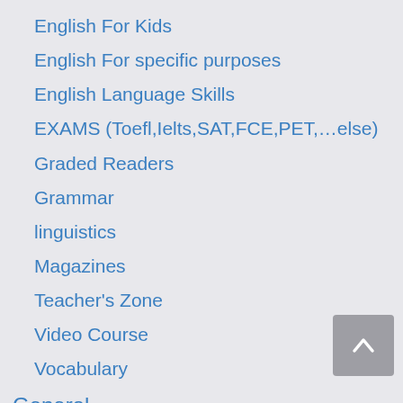English For Kids
English For specific purposes
English Language Skills
EXAMS (Toefl,Ielts,SAT,FCE,PET,…else)
Graded Readers
Grammar
linguistics
Magazines
Teacher's Zone
Video Course
Vocabulary
General
Greek Language
Hebrew Language
Italian Language